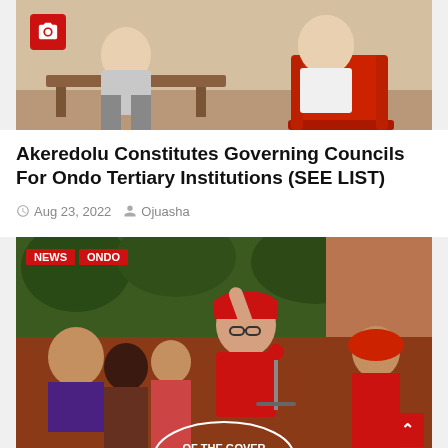[Figure (photo): Photo of person seated at desk with red chair, with camera icon overlay in top-left corner]
Akeredolu Constitutes Governing Councils For Ondo Tertiary Institutions (SEE LIST)
Aug 23, 2022  Ojuasha
[Figure (photo): Photo of woman in red outfit and red cap speaking at microphone at outdoor event, with NEWS and ONDO tags, and partial seal reading 'OF THE GOVER' at bottom, back-to-top red button at bottom right]